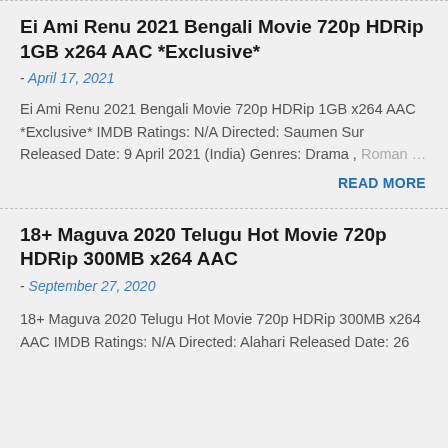Ei Ami Renu 2021 Bengali Movie 720p HDRip 1GB x264 AAC *Exclusive*
- April 17, 2021
Ei Ami Renu 2021 Bengali Movie 720p HDRip 1GB x264 AAC *Exclusive* IMDB Ratings: N/A Directed: Saumen Sur Released Date: 9 April 2021 (India) Genres: Drama , Roman …
READ MORE
18+ Maguva 2020 Telugu Hot Movie 720p HDRip 300MB x264 AAC
- September 27, 2020
18+ Maguva 2020 Telugu Hot Movie 720p HDRip 300MB x264 AAC IMDB Ratings: N/A Directed: Alahari Released Date: 26